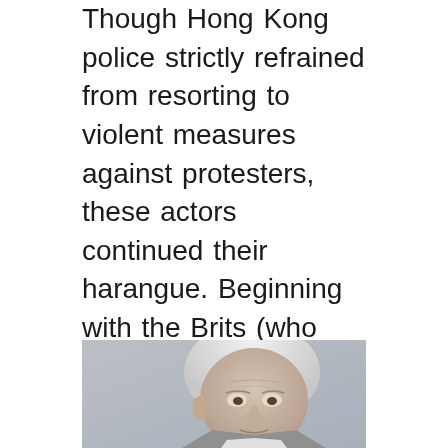Though Hong Kong police strictly refrained from resorting to violent measures against protesters, these actors continued their harangue. Beginning with the Brits (who else?), who are still nostalgic about the loss of their Far East colony. The aging Chris Patten, the last British Governor of Hong Kong, came out of retirement in support of the demonstrators. And then Foreign Secretary Jeremy Hunt weighed in by saying that China could face "serious consequences" if the "crackdown" continued.
[Figure (photo): Close-up photo of an elderly man with white hair, appearing to be Chris Patten, the last British Governor of Hong Kong.]